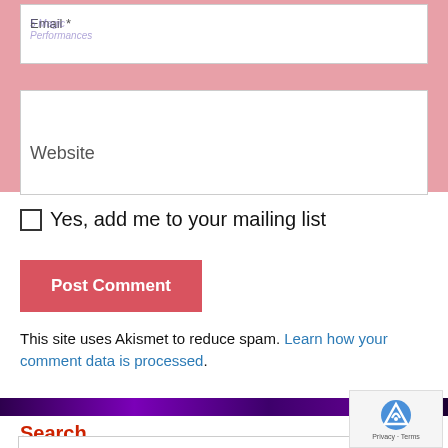Email *
Website
≡ Menu
☐ Yes, add me to your mailing list
Post Comment
This site uses Akismet to reduce spam. Learn how your comment data is processed.
Search
Search ...